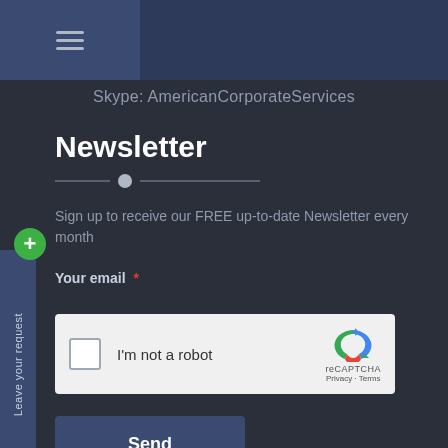Skype: AmericanCorporateServices
Newsletter
Sign up to receive our FREE up-to-date Newsletter every month
Your email *
[Figure (screenshot): reCAPTCHA widget with checkbox and 'I'm not a robot' text, reCAPTCHA logo, Privacy and Terms links]
Send